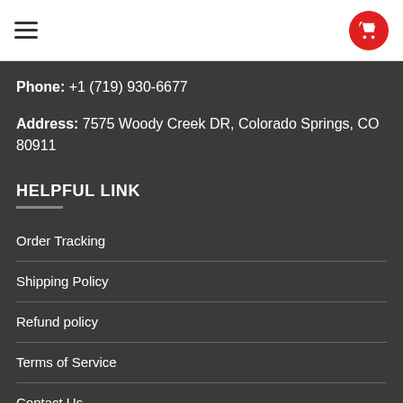Navigation header with hamburger menu and shopping cart button
Phone: +1 (719) 930-6677
Address: 7575 Woody Creek DR, Colorado Springs, CO 80911
HELPFUL LINK
Order Tracking
Shipping Policy
Refund policy
Terms of Service
Contact Us